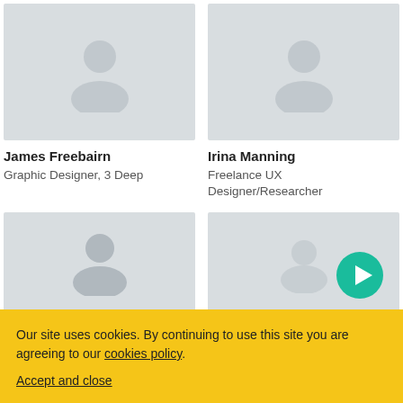[Figure (photo): Profile photo placeholder for James Freebairn, light gray background with faint person silhouette]
[Figure (photo): Profile photo placeholder for Irina Manning, light gray background with faint person silhouette]
James Freebairn
Graphic Designer, 3 Deep
Irina Manning
Freelance UX Designer/Researcher
[Figure (photo): Profile photo placeholder, light gray background]
[Figure (photo): Profile photo placeholder with teal play button overlay]
Our site uses cookies. By continuing to use this site you are agreeing to our cookies policy. Accept and close